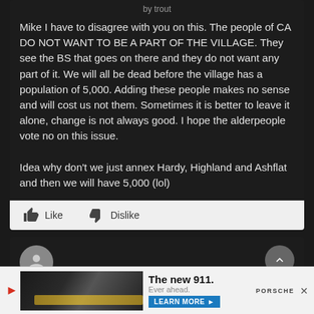by trout
Mike I have to disagree with you on this. The people of CA DO NOT WANT TO BE A PART OF THE VILLAGE. They see the BS that goes on there and they do not want any part of it. We will all be dead before the village has a population of 5,000. Adding these people makes no sense and will cost us not them. Sometimes it is better to leave it alone, change is not always good. I hope the alderpeople vote no on this issue.

Idea why don't we just annex Hardy, Highland and Ashflat and then we will have 5,000 (lol)
Like   Dislike
[Figure (screenshot): Bottom portion of a comment section with avatar circle and scroll-to-top button, plus a Porsche car advertisement banner at the bottom.]